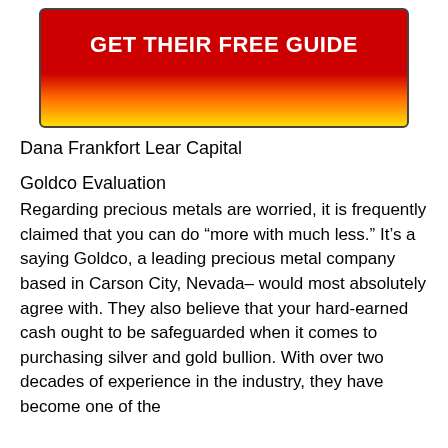[Figure (other): Red and yellow gradient button banner with white bold text reading GET THEIR FREE GUIDE]
Dana Frankfort Lear Capital
Goldco Evaluation
Regarding precious metals are worried, it is frequently claimed that you can do “more with much less.” It’s a saying Goldco, a leading precious metal company based in Carson City, Nevada– would most absolutely agree with. They also believe that your hard-earned cash ought to be safeguarded when it comes to purchasing silver and gold bullion. With over two decades of experience in the industry, they have become one of the